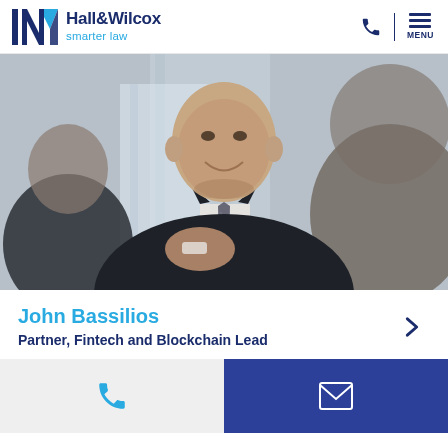Hall&Wilcox smarter law
[Figure (photo): Professional photo of John Bassilios, a bald man in a dark suit with a patterned tie, smiling and gesturing during a meeting. Two other people are partially visible on either side.]
John Bassilios
Partner, Fintech and Blockchain Lead